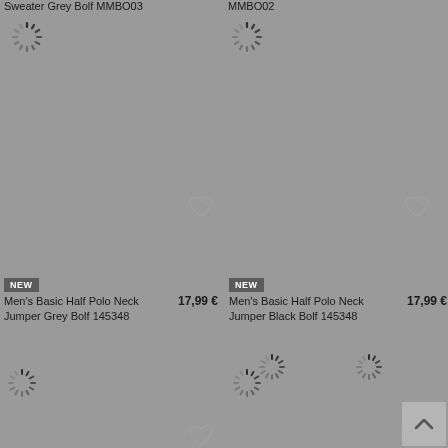Sweater Grey Bolf MMBO03
MMBO02
[Figure (screenshot): Two product listing cards (top row, partially visible): left shows 'Sweater Grey Bolf MMBO03' and right shows 'MMBO02', both with loading spinners and grey placeholder images.]
[Figure (screenshot): Two product listing cards (bottom row): left shows 'Men's Basic Half Polo Neck Jumper Grey Bolf 145348' priced at 17,99 euro with NEW badge; right shows 'Men's Basic Half Polo Neck Jumper Black Bolf 145348' priced at 17,99 euro with NEW badge. Both have loading spinners.]
NEW
Men's Basic Half Polo Neck Jumper Grey Bolf 145348
17,99 €
NEW
Men's Basic Half Polo Neck Jumper Black Bolf 145348
17,99 €